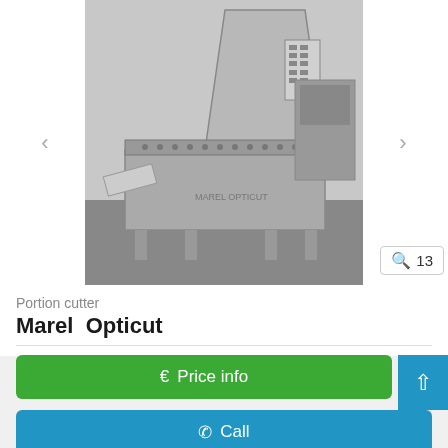[Figure (photo): Industrial portion cutter machine (Marel Opticut) photographed in a factory/warehouse setting. Stainless steel machine with cutting mechanism, conveyor, and control panel. Navigation arrows on left and right sides of carousel. Photo count badge showing magnifying glass icon and number 13.]
Portion cutter
Marel  Opticut
€ Price info
✆ Call
FEEDBACK